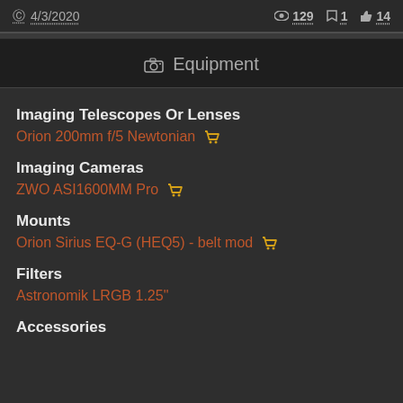© 4/3/2020   👁 129  🔖 1  👍 14
Equipment
Imaging Telescopes Or Lenses
Orion 200mm f/5 Newtonian
Imaging Cameras
ZWO ASI1600MM Pro
Mounts
Orion Sirius EQ-G (HEQ5) - belt mod
Filters
Astronomik LRGB 1.25"
Accessories